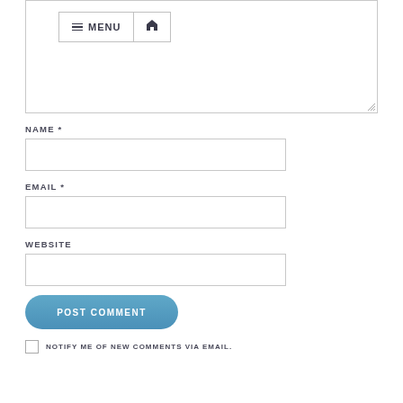[Figure (screenshot): Comment form textarea with Menu and home icon buttons at top-left, resize handle at bottom-right]
NAME *
[Figure (screenshot): Name input text field]
EMAIL *
[Figure (screenshot): Email input text field]
WEBSITE
[Figure (screenshot): Website input text field]
[Figure (screenshot): POST COMMENT rounded blue button]
NOTIFY ME OF NEW COMMENTS VIA EMAIL.